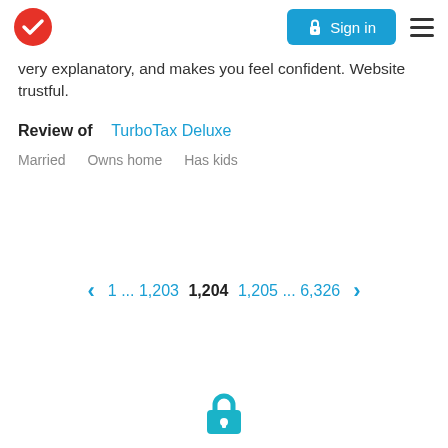TurboTax — Sign in (header navigation)
very explanatory, and makes you feel confident. Website trustful.
Review of  TurboTax Deluxe
Married    Owns home    Has kids
< 1 ... 1,203  1,204  1,205 ... 6,326  >
[Figure (logo): TurboTax lock icon at bottom of page]